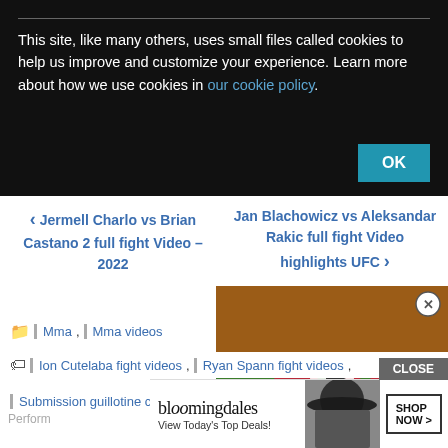This site, like many others, uses small files called cookies to help us improve and customize your experience. Learn more about how we use cookies in our cookie policy.
OK
< Jermell Charlo vs Brian Castano 2 full fight Video – 2022
Jan Blachowicz vs Aleksandar Rakic full fight Video highlights UFC >
[Figure (screenshot): Football game video thumbnail showing players in red and white uniforms on a green field, with a play button overlay and a close button.]
Mma , Mma videos
Ion Cutelaba fight videos , Ryan Spann fight videos ,
Submission guillotine choke , UFC fight videos , UFC
Perform
[Figure (screenshot): Bloomingdale's advertisement showing a woman with a hat and text: View Today's Top Deals! SHOP NOW >]